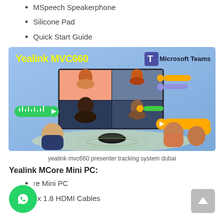MSpeech Speakerphone
Silicone Pad
Quick Start Guide
[Figure (illustration): Yealink MVC660 Microsoft Teams promotional image showing a video conference with multiple participants and a speakerphone on a table]
yealink mvc660 presenter tracking system dubai
Yealink MCore Mini PC:
MCore Mini PC
2x 1.8 HDMI Cables